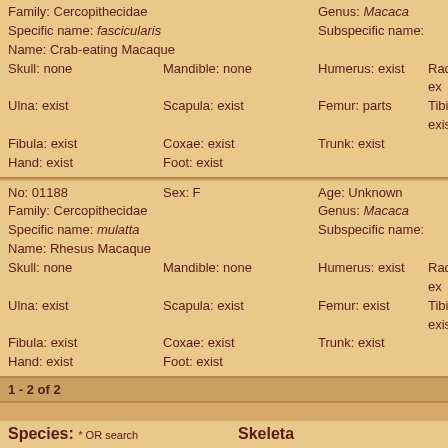| Family: Cercopithecidae |  | Genus: Macaca |  |
| Specific name: fascicularis |  | Subspecific name: |  |
| Name: Crab-eating Macaque |  |  |  |
| Skull: none | Mandible: none | Humerus: exist | Radius: ex |
| Ulna: exist | Scapula: exist | Femur: parts | Tibia: exis |
| Fibula: exist | Coxae: exist | Trunk: exist |  |
| Hand: exist | Foot: exist |  |  |
| No: 01188 | Sex: F | Age: Unknown |  |
| Family: Cercopithecidae |  | Genus: Macaca |  |
| Specific name: mulatta |  | Subspecific name: |  |
| Name: Rhesus Macaque |  |  |  |
| Skull: none | Mandible: none | Humerus: exist | Radius: ex |
| Ulna: exist | Scapula: exist | Femur: exist | Tibia: exis |
| Fibula: exist | Coxae: exist | Trunk: exist |  |
| Hand: exist | Foot: exist |  |  |
1 - 2 of 2
Species: * OR search
All Species (5)
Cheirogaleidae Microcebus murinus (0)
Lemuridae Eulemur fulvus (0)
Lemuridae Eulemur macaco (0)
Lemuridae Eulemur mongoz (0)
Lemuridae Lemur catta (0)
Lemuridae Varecia variegata (0)
Galagidae Galago senegalensis (0)
Skeleta